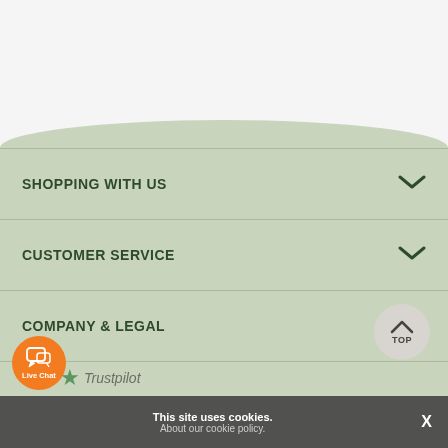SHOPPING WITH US
CUSTOMER SERVICE
COMPANY & LEGAL
This site uses cookies. About our cookie policy.